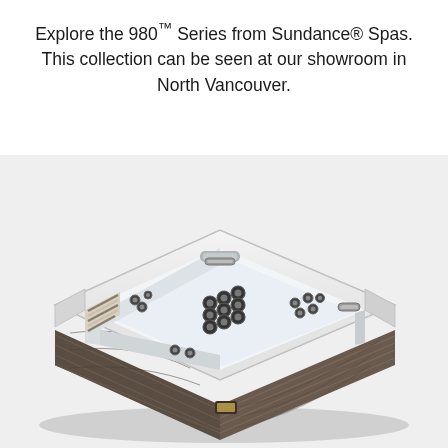Explore the 980™ Series from Sundance® Spas. This collection can be seen at our showroom in North Vancouver.
[Figure (photo): A Sundance Spas 980 Series hot tub/spa viewed from an isometric angle. The spa has a white acrylic interior with multiple jets arranged throughout, a wooden step/entry area with striped pattern on the left side, and a dark brown wood-panel exterior cabinet. The interior shows various seating positions with numerous hydrotherapy jets. The background is light gray.]